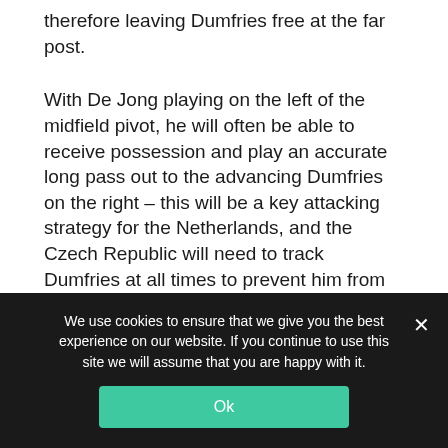therefore leaving Dumfries free at the far post.
With De Jong playing on the left of the midfield pivot, he will often be able to receive possession and play an accurate long pass out to the advancing Dumfries on the right – this will be a key attacking strategy for the Netherlands, and the Czech Republic will need to track Dumfries at all times to prevent him from enjoying this sort of space.
Weak Dutch defending could open the door for the Czech
We use cookies to ensure that we give you the best experience on our website. If you continue to use this site we will assume that you are happy with it.